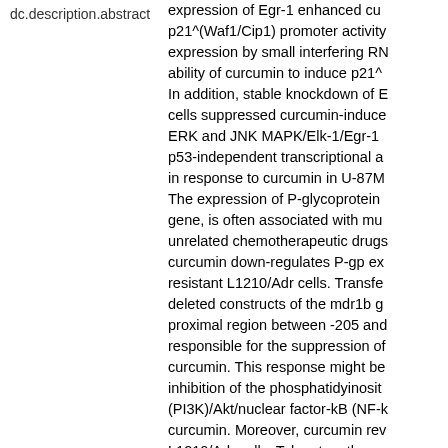| Field | Value |
| --- | --- |
| dc.description.abstract | expression of Egr-1 enhanced cu p21^(Waf1/Cip1) promoter activity expression by small interfering RN ability of curcumin to induce p21^ In addition, stable knockdown of E cells suppressed curcumin-induce ERK and JNK MAPK/Elk-1/Egr-1 p53-independent transcriptional a in response to curcumin in U-87M The expression of P-glycoprotein gene, is often associated with mu unrelated chemotherapeutic drugs curcumin down-regulates P-gp ex resistant L1210/Adr cells. Transfe deleted constructs of the mdr1b g proximal region between -205 and responsible for the suppression of curcumin. This response might be inhibition of the phosphatidyinosit (PI3K)/Akt/nuclear factor-kB (NF-k curcumin. Moreover, curcumin rev L1210/Adr cells. Taken together, c anticarcinogenic activity, due to th MAPK/Elk-1/Egr-1/p21 signal cas gp expression via the inhibition of signaling pathway. |
| dc.publisher | 대한약학회 |